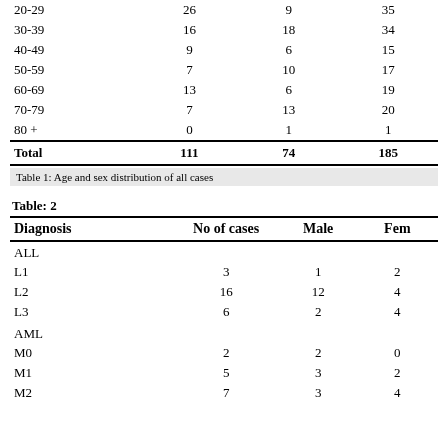| Age | No of cases | Male | Female |
| --- | --- | --- | --- |
| 20-29 | 26 | 9 | 35 |
| 30-39 | 16 | 18 | 34 |
| 40-49 | 9 | 6 | 15 |
| 50-59 | 7 | 10 | 17 |
| 60-69 | 13 | 6 | 19 |
| 70-79 | 7 | 13 | 20 |
| 80 + | 0 | 1 | 1 |
| Total | 111 | 74 | 185 |
Table 1: Age and sex distribution of all cases
Table: 2
| Diagnosis | No of cases | Male | Fem |
| --- | --- | --- | --- |
| ALL |  |  |  |
| L1 | 3 | 1 | 2 |
| L2 | 16 | 12 | 4 |
| L3 | 6 | 2 | 4 |
| AML |  |  |  |
| M0 | 2 | 2 | 0 |
| M1 | 5 | 3 | 2 |
| M2 | 7 | 3 | 4 |